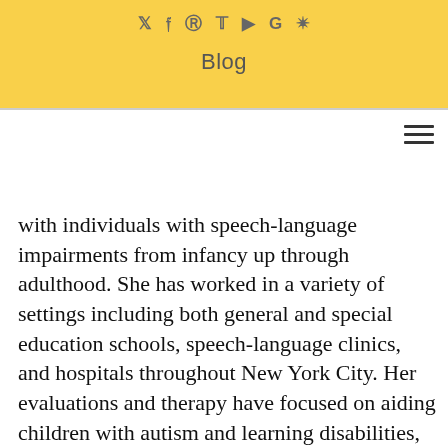Blog
with individuals with speech-language impairments from infancy up through adulthood. She has worked in a variety of settings including both general and special education schools, speech-language clinics, and hospitals throughout New York City. Her evaluations and therapy have focused on aiding children with autism and learning disabilities, language delay, literacy issues (including phonics, spelling, comprehension, and writing),